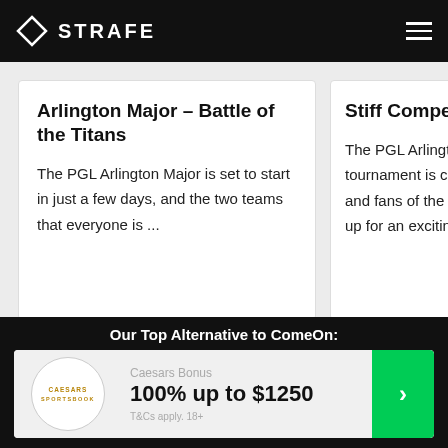STRAFE
Arlington Major – Battle of the Titans
The PGL Arlington Major is set to start in just a few days, and the two teams that everyone is ...
Stiff Competiti...
The PGL Arlingto... tournament is co... and fans of the g... up for an excitin...
CONCLUSION ON BONUS
While the €25 on offer in the ComeOn sportsbook bonus
Our Top Alternative to ComeOn:
Caesars Bonus
100% up to $1250
T&Cs apply. 18+